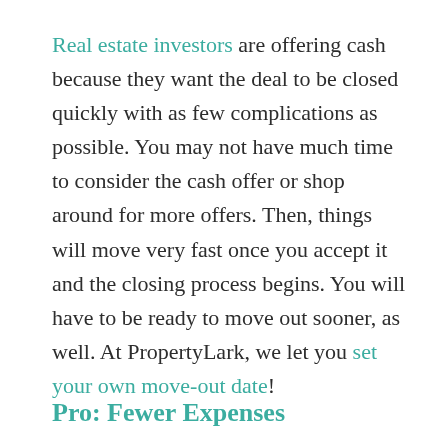Real estate investors are offering cash because they want the deal to be closed quickly with as few complications as possible. You may not have much time to consider the cash offer or shop around for more offers. Then, things will move very fast once you accept it and the closing process begins. You will have to be ready to move out sooner, as well. At PropertyLark, we let you set your own move-out date!
Pro: Fewer Expenses